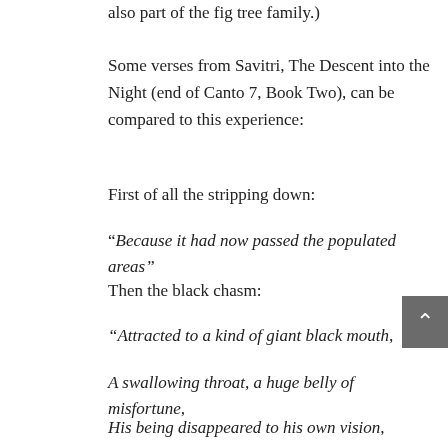also part of the fig tree family.)
Some verses from Savitri, The Descent into the Night (end of Canto 7, Book Two), can be compared to this experience:
First of all the stripping down:
“Because it had now passed the populated areas”
Then the black chasm:
“Attracted to a kind of giant black mouth,
A swallowing throat, a huge belly of misfortune,
His being disappeared to his own vision,